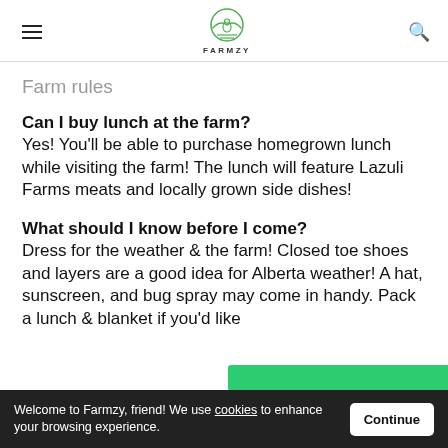FARMZY [logo]
Farm rules
Can I buy lunch at the farm?
Yes! You'll be able to purchase homegrown lunch while visiting the farm! The lunch will feature Lazuli Farms meats and locally grown side dishes!
What should I know before I come?
Dress for the weather & the farm! Closed toe shoes and layers are a good idea for Alberta weather! A hat, sunscreen, and bug spray may come in handy. Pack a lunch & blanket if you'd like
Welcome to Farmzy, friend! We use cookies to enhance your browsing experience. [Continue]